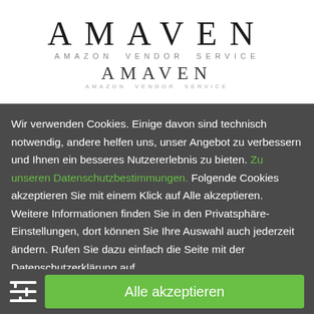[Figure (logo): AMAVEN Amazon Vendor Service logo, shown twice in different sizes]
Wir verwenden Cookies. Einige davon sind technisch notwendig, andere helfen uns, unser Angebot zu verbessern und Ihnen ein besseres Nutzererlebnis zu bieten. Zu unseren Datenschutzbestimmungen. Folgende Cookies akzeptieren Sie mit einem Klick auf Alle akzeptieren. Weitere Informationen finden Sie in den Privatsphäre-Einstellungen, dort können Sie Ihre Auswahl auch jederzeit ändern. Rufen Sie dazu einfach die Seite mit der Datenschutzerklärung auf.
Alle akzeptieren